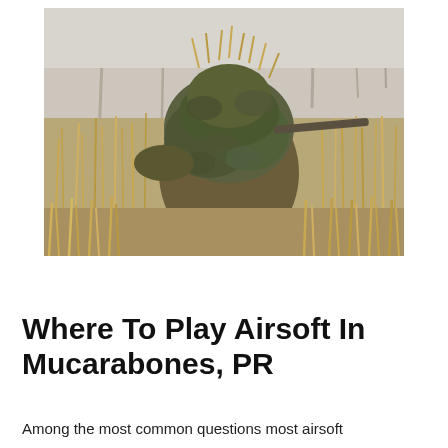[Figure (photo): A person wearing a ghillie suit covered in dried grass and foliage, standing in a field of tall dry grass and bare trees in the background, photographed in an outdoor woodland/field setting.]
Where To Play Airsoft In Mucarabones, PR
Among the most common questions most airsoft